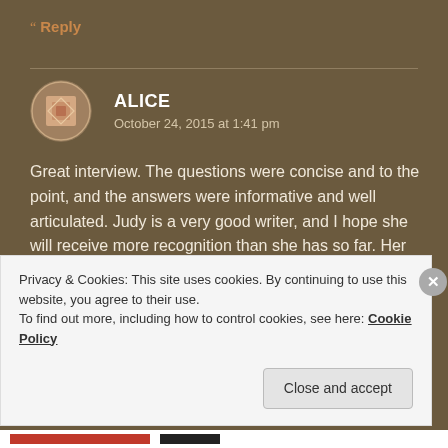Reply
ALICE
October 24, 2015 at 1:41 pm
Great interview. The questions were concise and to the point, and the answers were informative and well articulated. Judy is a very good writer, and I hope she will receive more recognition than she has so far. Her books deserve to be better known.
Privacy & Cookies: This site uses cookies. By continuing to use this website, you agree to their use.
To find out more, including how to control cookies, see here: Cookie Policy
Close and accept